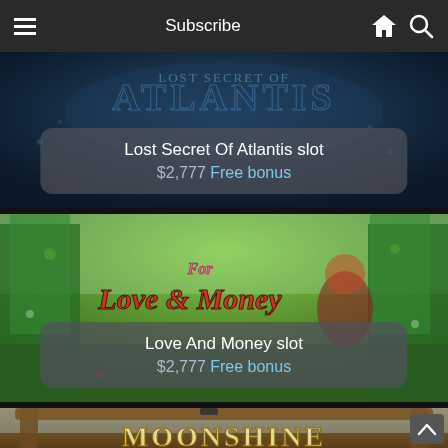Subscribe
[Figure (screenshot): Lost Secret of Atlantis slot game banner with dark blue underwater theme and glowing Atlantis logo text]
Lost Secret Of Atlantis slot
$2,777 Free bonus
[Figure (screenshot): For Love & Money slot game banner with lush green forest background and a red-haired female character]
Love And Money slot
$2,777 Free bonus
[Figure (screenshot): Moonshiner slot game banner partially visible at bottom with wooden sign frame]